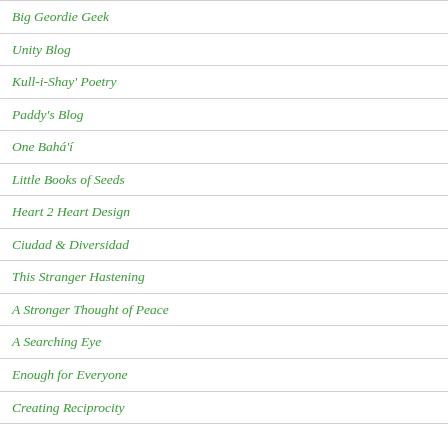Big Geordie Geek
Unity Blog
Kull-i-Shay' Poetry
Paddy's Blog
One Bahá'í
Little Books of Seeds
Heart 2 Heart Design
Ciudad & Diversidad
This Stranger Hastening
A Stronger Thought of Peace
A Searching Eye
Enough for Everyone
Creating Reciprocity